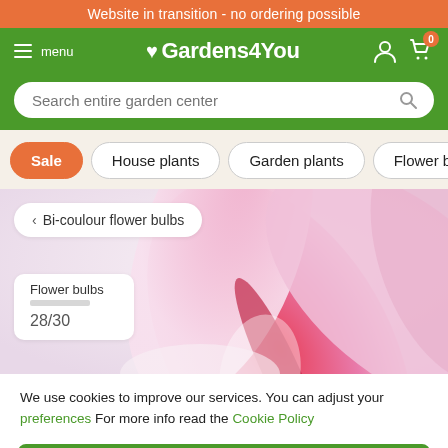Website in transition - no ordering possible
[Figure (screenshot): Gardens4You website navigation bar with hamburger menu, logo with heart icon, user account icon, and shopping cart icon with badge showing 0]
[Figure (screenshot): Search bar with placeholder text 'Search entire garden center' and a magnifying glass icon]
[Figure (screenshot): Category navigation pills: Sale (orange/active), House plants, Garden plants, Flower bulbs (partially visible)]
[Figure (photo): Close-up photo of a bi-colour amaryllis flower with pink and white petals against a light background, with breadcrumb navigation showing 'Bi-coulour flower bulbs' and overlay showing 'Flower bulbs' category and '28/30' stock info]
We use cookies to improve our services. You can adjust your preferences For more info read the Cookie Policy
ACCEPT